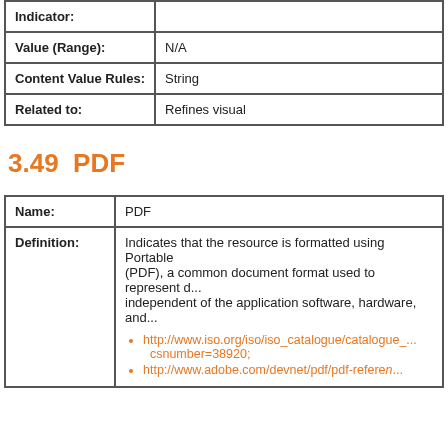| Field | Value |
| --- | --- |
| Indicator: |  |
| Value (Range): | N/A |
| Content Value Rules: | String |
| Related to: | Refines visual |
3.49  PDF
| Field | Value |
| --- | --- |
| Name: | PDF |
| Definition: | Indicates that the resource is formatted using Portable Document Format (PDF), a common document format used to represent documents independent of the application software, hardware, and...
• http://www.iso.org/iso/iso_catalogue/catalogue_...csnumber=38920;
• http://www.adobe.com/devnet/pdf/pdf-reference... |